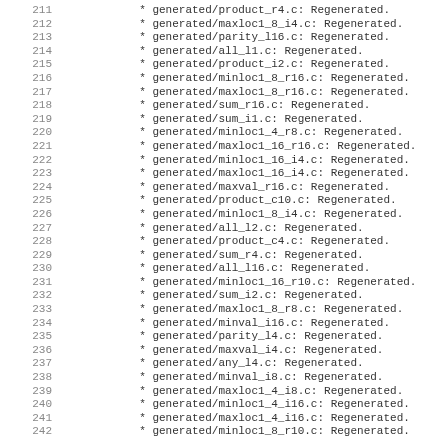211   * generated/product_r4.c: Regenerated.
212   * generated/maxloc1_8_i4.c: Regenerated.
213   * generated/parity_l16.c: Regenerated.
214   * generated/all_l1.c: Regenerated.
215   * generated/product_i2.c: Regenerated.
216   * generated/minloc1_8_r16.c: Regenerated.
217   * generated/maxloc1_8_r16.c: Regenerated.
218   * generated/sum_r16.c: Regenerated.
219   * generated/sum_i1.c: Regenerated.
220   * generated/minloc1_4_r8.c: Regenerated.
221   * generated/maxloc1_16_r16.c: Regenerated.
222   * generated/minloc1_16_i4.c: Regenerated.
223   * generated/maxloc1_16_i4.c: Regenerated.
224   * generated/maxval_r16.c: Regenerated.
225   * generated/product_c10.c: Regenerated.
226   * generated/minloc1_8_i4.c: Regenerated.
227   * generated/all_l2.c: Regenerated.
228   * generated/product_c4.c: Regenerated.
229   * generated/sum_r4.c: Regenerated.
230   * generated/all_l16.c: Regenerated.
231   * generated/minloc1_16_r10.c: Regenerated.
232   * generated/sum_i2.c: Regenerated.
233   * generated/maxloc1_8_r8.c: Regenerated.
234   * generated/minval_i16.c: Regenerated.
235   * generated/parity_l4.c: Regenerated.
236   * generated/maxval_i4.c: Regenerated.
237   * generated/any_l4.c: Regenerated.
238   * generated/minval_i8.c: Regenerated.
239   * generated/maxloc1_4_i8.c: Regenerated.
240   * generated/minloc1_4_i16.c: Regenerated.
241   * generated/maxloc1_4_i16.c: Regenerated.
242   * generated/minloc1_8_r10.c: Regenerated.